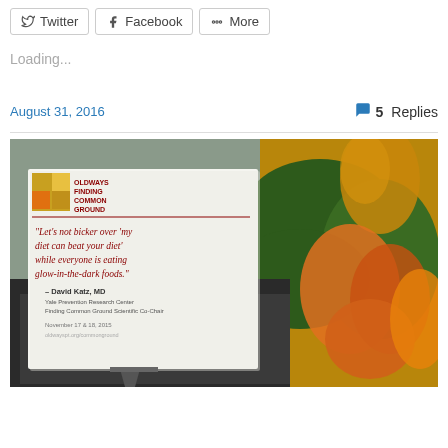Twitter
Facebook
More
Loading...
August 31, 2016
5 Replies
[Figure (photo): A placard from 'Oldways Finding Common Ground' event with a quote: "Let's not bicker over 'my diet can beat your diet' while everyone is eating glow-in-the-dark foods." — David Katz, MD, Yale Prevention Research Center, Finding Common Ground Scientific Co-Chair. November 17 & 18, 2015. Background shows autumn foliage decorations in orange and yellow.]